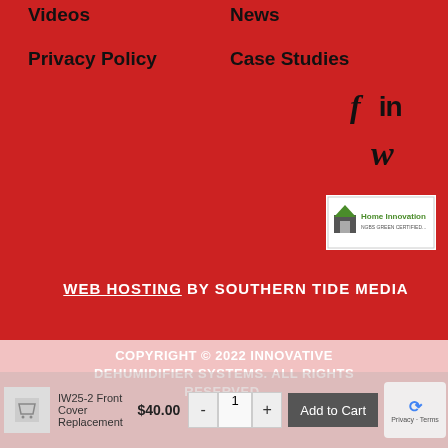Videos
News
Privacy Policy
Case Studies
[Figure (logo): Home Innovation NGBS Green Certified logo badge]
WEB HOSTING BY SOUTHERN TIDE MEDIA
COPYRIGHT © 2022 INNOVATIVE DEHUMIDIFIER SYSTEMS. ALL RIGHTS RESERVED.
IW25-2 Front Cover Replacement
$40.00